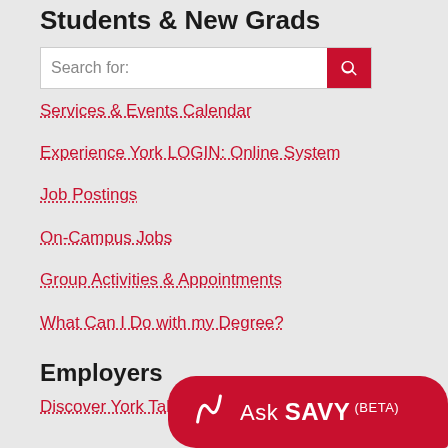Students & New Grads
[Figure (screenshot): Search bar with text 'Search for:' and a red search button with magnifier icon]
Services & Events Calendar
Experience York LOGIN: Online System
Job Postings
On-Campus Jobs
Group Activities & Appointments
What Can I Do with my Degree?
Employers
Discover York Tale
[Figure (logo): Ask SAVY (BETA) red chat bubble button with stylized M logo]